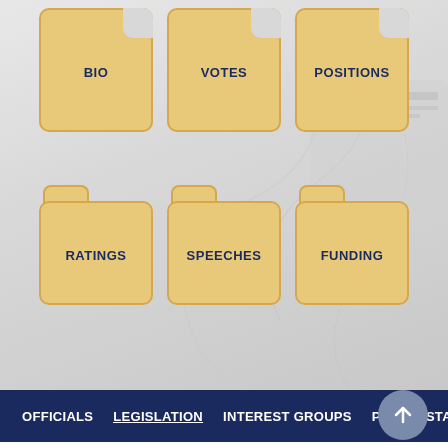[Figure (screenshot): Navigation folder/document icons: BIO, VOTES, POSITIONS (top row as document icons), RATINGS, SPEECHES, FUNDING (bottom row as folder icons) on a gray gradient background]
OFFICIALS   LEGISLATION   INTEREST GROUPS   PUBLIC STATI
2020 Illinois Agriculture and Food Key Votes